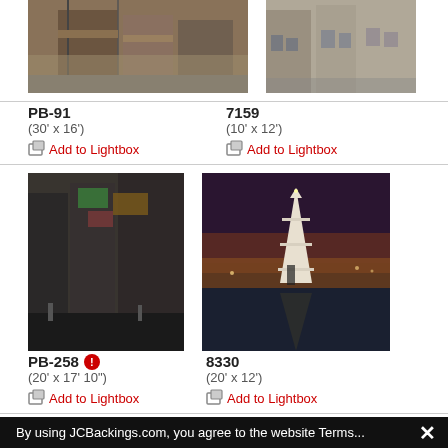[Figure (photo): Japanese street scene with traditional buildings, power lines, sepia tone]
PB-91
(30' x 16')
Add to Lightbox
[Figure (photo): European city street with old stone buildings]
7159
(10' x 12')
Add to Lightbox
[Figure (photo): Dark urban street scene with neon signs, black and white with color]
PB-258
(20' x 17' 10")
Add to Lightbox
[Figure (photo): Eiffel Tower at dusk reflected in water]
8330
(20' x 12')
Add to Lightbox
[Figure (photo): Close-up of Eiffel Tower lattice structure against blue sky]
By using JCBackings.com, you agree to the website Terms...